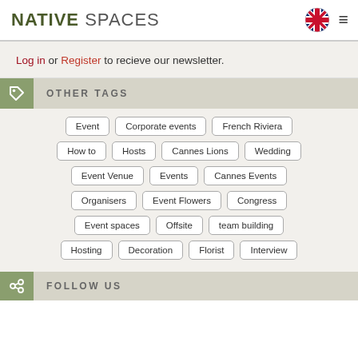NATIVE SPACES
Log in or Register to recieve our newsletter.
OTHER TAGS
Event
Corporate events
French Riviera
How to
Hosts
Cannes Lions
Wedding
Event Venue
Events
Cannes Events
Organisers
Event Flowers
Congress
Event spaces
Offsite
team building
Hosting
Decoration
Florist
Interview
FOLLOW US